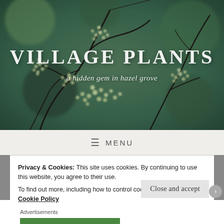[Figure (photo): Website hero banner showing close-up photo of green/cream plant buds/flower clusters on dark branches against blurred bokeh background]
VILLAGE PLANTS
a hidden gem in hazel grove
≡  MENU
Privacy & Cookies: This site uses cookies. By continuing to use this website, you agree to their use.
To find out more, including how to control cookies, see here: Cookie Policy
Close and accept
Advertisements